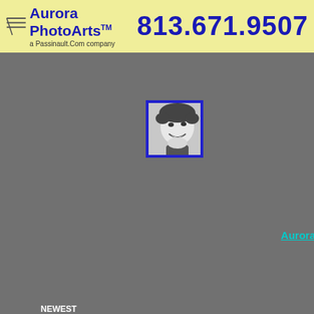Aurora PhotoArts™ a Passinault.Com company  813.671.9507
[Figure (photo): Black and white thumbnail photo of a smiling woman with short curly hair, framed with a blue border]
Aurora
NEWEST
IMAGES
Client Tes
"I am real
else even
-Cammy .